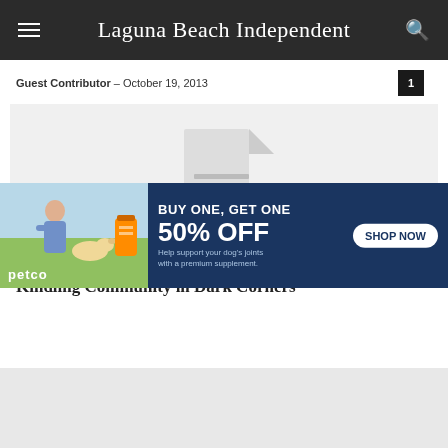Laguna Beach Independent
Guest Contributor · October 19, 2013
[Figure (photo): Broken/missing image placeholder with document icon]
Kindling Community in Dark Corners
[Figure (infographic): Petco advertisement: BUY ONE, GET ONE 50% OFF - Help support your dog's joints with a premium supplement. SHOP NOW button. Shows woman with dog and supplement bottle.]